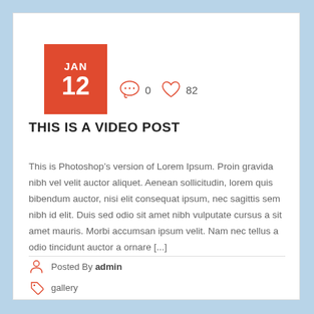[Figure (other): Red date box showing JAN 12 with comment icon (0 comments) and heart icon (82 likes)]
THIS IS A VIDEO POST
This is Photoshop’s version of Lorem Ipsum. Proin gravida nibh vel velit auctor aliquet. Aenean sollicitudin, lorem quis bibendum auctor, nisi elit consequat ipsum, nec sagittis sem nibh id elit. Duis sed odio sit amet nibh vulputate cursus a sit amet mauris. Morbi accumsan ipsum velit. Nam nec tellus a odio tincidunt auctor a ornare [...]
Posted By admin
gallery